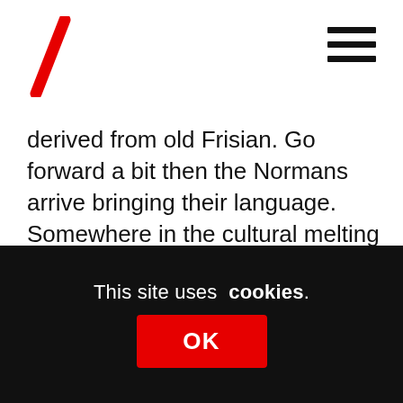[Site header with logo and navigation]
derived from old Frisian. Go forward a bit then the Normans arrive bringing their language. Somewhere in the cultural melting pot, standard English starts to make an appearance, but with traces still of the older languages. Eventually in time, this is adopted in Scotland as well, with Broad Scots being pushed out to the fringes of Scotland.

I guess what I am saying is, how far back do you go, to locate and then claim a cultural heritage. Do you put limits on how far back you go? for the sake of
This site uses cookies.
OK